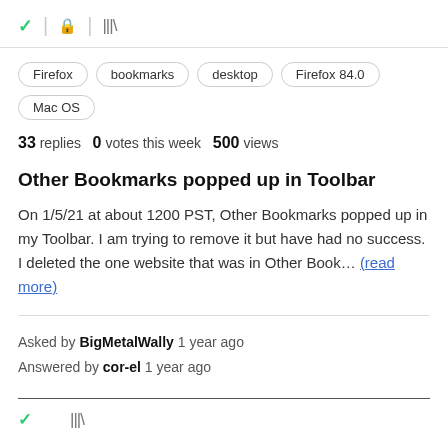[Figure (screenshot): Browser toolbar icons: green checkmark, lock icon, library/bookmarks icon]
Firefox
bookmarks
desktop
Firefox 84.0
Mac OS
33 replies  0 votes this week  500 views
Other Bookmarks popped up in Toolbar
On 1/5/21 at about 1200 PST, Other Bookmarks popped up in my Toolbar. I am trying to remove it but have had no success. I deleted the one website that was in Other Book... (read more)
Asked by BigMetalWally 1 year ago
Answered by cor-el 1 year ago
[Figure (screenshot): Bottom icons: green checkmark and library/bookmarks icon]